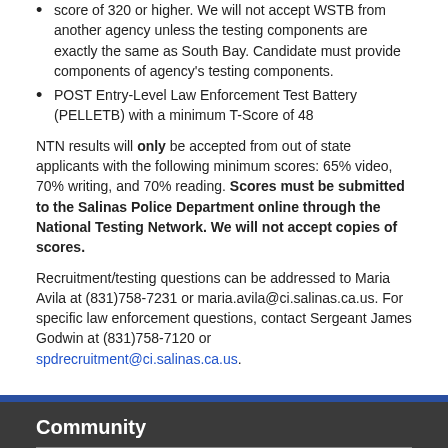score of 320 or higher. We will not accept WSTB from another agency unless the testing components are exactly the same as South Bay. Candidate must provide components of agency's testing components.
POST Entry-Level Law Enforcement Test Battery (PELLETB) with a minimum T-Score of 48
NTN results will only be accepted from out of state applicants with the following minimum scores: 65% video, 70% writing, and 70% reading. Scores must be submitted to the Salinas Police Department online through the National Testing Network. We will not accept copies of scores.
Recruitment/testing questions can be addressed to Maria Avila at (831)758-7231 or maria.avila@ci.salinas.ca.us. For specific law enforcement questions, contact Sergeant James Godwin at (831)758-7120 or spdrecruitment@ci.salinas.ca.us.
Community
Programs
Neighborhood Watch
Community Academy
Advisory Committee